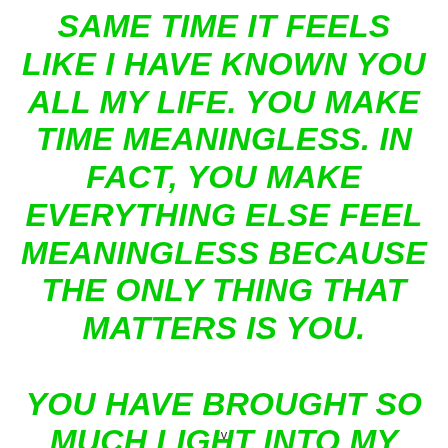SAME TIME IT FEELS LIKE I HAVE KNOWN YOU ALL MY LIFE. YOU MAKE TIME MEANINGLESS. IN FACT, YOU MAKE EVERYTHING ELSE FEEL MEANINGLESS BECAUSE THE ONLY THING THAT MATTERS IS YOU.

YOU HAVE BROUGHT SO MUCH LIGHT INTO MY LIFE. I WOULD BE LOST WITHOUT YOUR TORCH. THANK YOU FOR EVERYTHING YOU HAVE DONE FOR ME — AND THANK
v